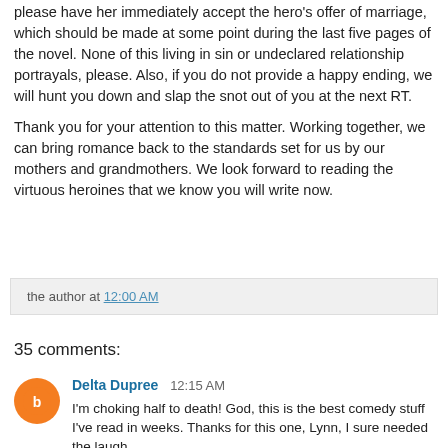please have her immediately accept the hero's offer of marriage, which should be made at some point during the last five pages of the novel. None of this living in sin or undeclared relationship portrayals, please. Also, if you do not provide a happy ending, we will hunt you down and slap the snot out of you at the next RT.
Thank you for your attention to this matter. Working together, we can bring romance back to the standards set for us by our mothers and grandmothers. We look forward to reading the virtuous heroines that we know you will write now.
the author at 12:00 AM
35 comments:
Delta Dupree 12:15 AM
I'm choking half to death! God, this is the best comedy stuff I've read in weeks. Thanks for this one, Lynn, I sure needed the laugh.